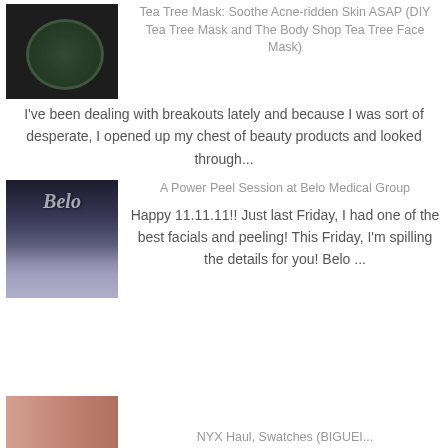[Figure (photo): Thumbnail image of a tea tree face mask product in a jar, dark green colored]
Tea Tree Mask: Soothe Acne-ridden Skin ASAP (DIY Tea Tree Mask and The Body Shop Tea Tree Face Mask)
I've been dealing with breakouts lately and because I was sort of desperate, I opened up my chest of beauty products and looked through...
[Figure (photo): Thumbnail image of Belo Medical Group storefront with glass windows and signage]
A Power Peel Session at Belo Medical Group
Happy 11.11.11!! Just last Friday, I had one of the best facials and peeling! This Friday, I'm spilling the details for you! Belo ...
[Figure (photo): Partial thumbnail of NYX product review post, showing skin/face area]